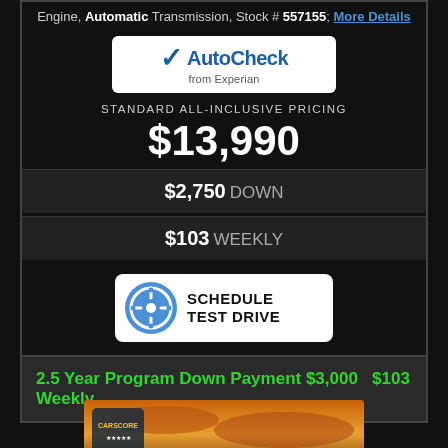Engine, Automatic Transmission, Stock # 557155, More Details
[Figure (logo): AutoCheck from Experian logo — white checkmark in a blue circle with AutoCheck text and 'from Experian' subtitle]
STANDARD ALL-INCLUSIVE PRICING
$13,990
$2,750 DOWN
$103 WEEKLY
[Figure (logo): Schedule Test Drive button — blue steering wheel icon with SCHEDULE TEST DRIVE text]
2.5 Year Program Down Payment $3,000   $103 Weekly
[Figure (photo): CarScore badge over a sunset sky background]